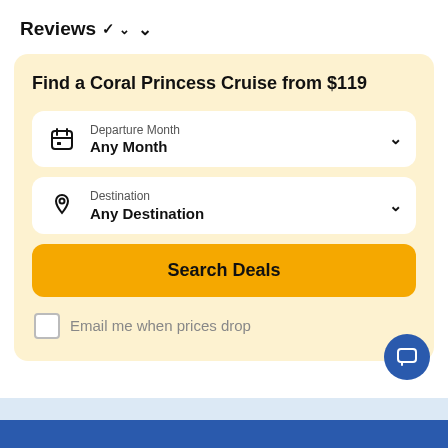Reviews ∨
Find a Coral Princess Cruise from $119
Departure Month — Any Month
Destination — Any Destination
Search Deals
Email me when prices drop